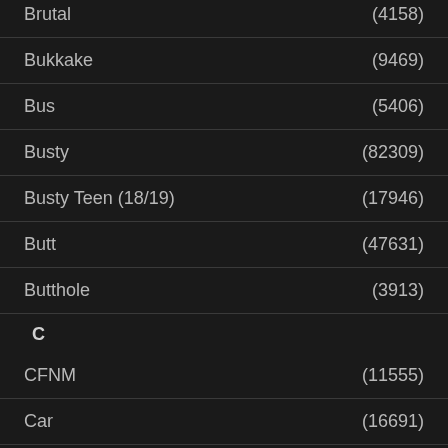Brutal (4158)
Bukkake (9469)
Bus (5406)
Busty (82309)
Busty Teen (18/19) (17946)
Butt (47631)
Butthole (3913)
C
CFNM (11555)
Car (16691)
Cash (5809)